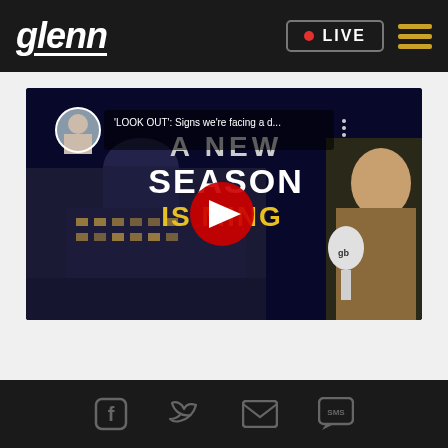glenn | LIVE
[Figure (screenshot): YouTube video thumbnail showing Glenn Beck with text 'LOOK OUT: Signs we're facing a d...' and 'A NEW SEASON IS COMING' overlaid on US Capitol building at night. YouTube play button visible in center. Avatar of older man with white hair in top left corner.]
Social media icons: Facebook, Twitter, Email, SMS